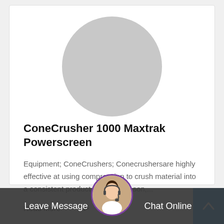[Figure (photo): Circular placeholder avatar image (gray circle)]
ConeCrusher 1000 Maxtrak Powerscreen
Equipment; ConeCrushers; Conecrushersare highly effective at using compression to crush material into a consistent product. For this reason,...
Read More →
[Figure (photo): Customer service representative avatar with headset, circular photo with purple border]
Leave Message   Chat Online